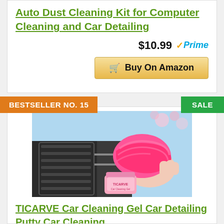Auto Dust Cleaning Kit for Computer Cleaning and Car Detailing
$10.99 Prime
Buy On Amazon
BESTSELLER NO. 15
SALE
[Figure (photo): Pink cleaning gel / putty being used on car air vent, with TICARVE jar shown]
TICARVE Car Cleaning Gel Car Detailing Putty Car Cleaning...